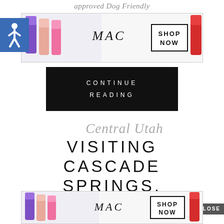approved Dog Friendly
[Figure (photo): MAC cosmetics advertisement banner with lipsticks and SHOP NOW button]
CONTINUE
READING
[Figure (logo): Blue accessibility wheelchair icon]
Central Utah
VISITING CASCADE SPRINGS, AMERICAN FORK
CLOSE
[Figure (photo): MAC cosmetics advertisement banner at bottom with lipsticks and SHOP NOW button]